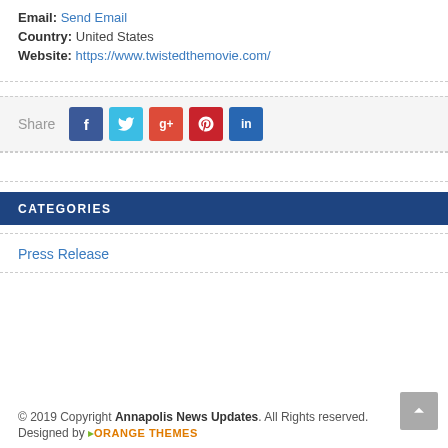Email: Send Email
Country: United States
Website: https://www.twistedthemovie.com/
[Figure (infographic): Share bar with social media icons: Facebook (blue), Twitter (cyan), Google+ (orange-red), Pinterest (red), LinkedIn (blue)]
CATEGORIES
Press Release
© 2019 Copyright Annapolis News Updates. All Rights reserved. Designed by ORANGE THEMES